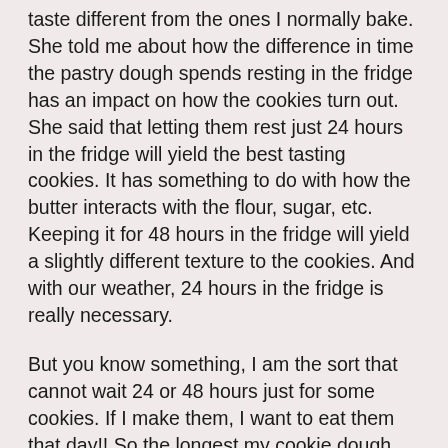taste different from the ones I normally bake. She told me about how the difference in time the pastry dough spends resting in the fridge has an impact on how the cookies turn out. She said that letting them rest just 24 hours in the fridge will yield the best tasting cookies. It has something to do with how the butter interacts with the flour, sugar, etc. Keeping it for 48 hours in the fridge will yield a slightly different texture to the cookies. And with our weather, 24 hours in the fridge is really necessary.
But you know something, I am the sort that cannot wait 24 or 48 hours just for some cookies. If I make them, I want to eat them that day!! So the longest my cookie dough ever stays in the fridge is probably 1 hour. So I guess you can guess how my cookies taste next to hers. But, its ok - my kids enjoy it nonetheless. Like the Chinese say - no fish, prawns will do too!
She also advised me that when searching for recipes on the net, I should always include the words "world's best" in my search. I tried doing that, but I find that most of the "world's best" recipes are too complex for me. Being an amateur...